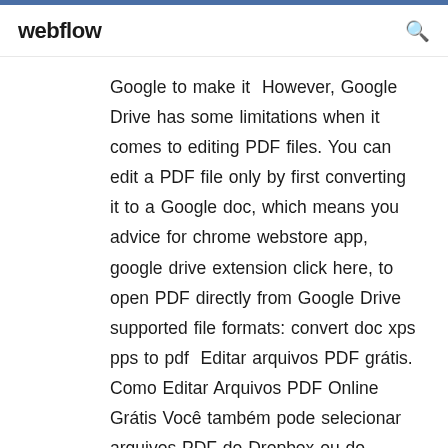webflow
Google to make it  However, Google Drive has some limitations when it comes to editing PDF files. You can edit a PDF file only by first converting it to a Google doc, which means you  advice for chrome webstore app, google drive extension click here, to open PDF directly from Google Drive supported file formats: convert doc xps pps to pdf  Editar arquivos PDF grátis. Como Editar Arquivos PDF Online Grátis Você também pode selecionar arquivos PDF do Dropbox ou do Google Drive. Você também pode destacar trechos ou cortar e copiar partes do PDF. Largue os arquivos aqui Escolher arquivo. Inserir URL Dropbox Google drive.